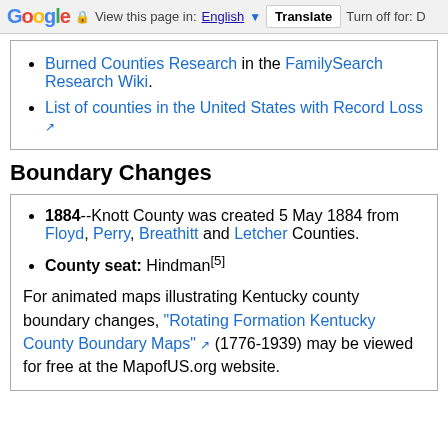Google  View this page in: English [▼]  Translate  Turn off for: D
Burned Counties Research in the FamilySearch Research Wiki.
List of counties in the United States with Record Loss [external link]
Boundary Changes
1884--Knott County was created 5 May 1884 from Floyd, Perry, Breathitt and Letcher Counties.
County seat: Hindman[5]
For animated maps illustrating Kentucky county boundary changes, "Rotating Formation Kentucky County Boundary Maps" (1776-1939) may be viewed for free at the MapofUS.org website.